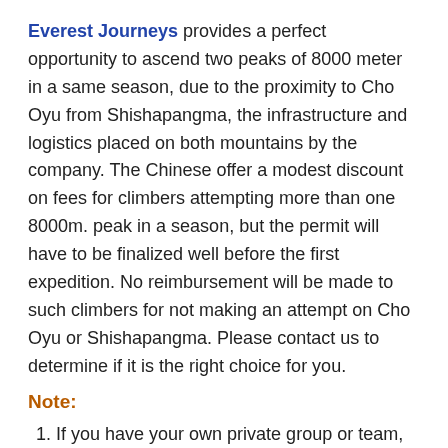Everest Journeys provides a perfect opportunity to ascend two peaks of 8000 meter in a same season, due to the proximity to Cho Oyu from Shishapangma, the infrastructure and logistics placed on both mountains by the company. The Chinese offer a modest discount on fees for climbers attempting more than one 8000m. peak in a season, but the permit will have to be finalized well before the first expedition. No reimbursement will be made to such climbers for not making an attempt on Cho Oyu or Shishapangma. Please contact us to determine if it is the right choice for you.
Note:
If you have your own private group or team, please e-mail us to know the price and details of expedition.
If you are alone and looking for a group to join then visit our fix-departure expedition information.